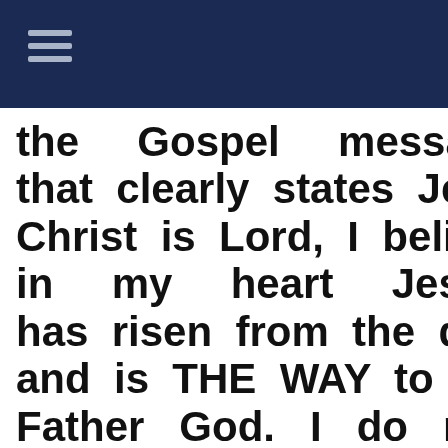the Gospel message that clearly states Jesus Christ is Lord, I believe in my heart Jesus has risen from the dead and is THE WAY to The Father God. I do not seek to be politically correct. I believe marriage is between a man and a woman. I believe sexual intercourse is the